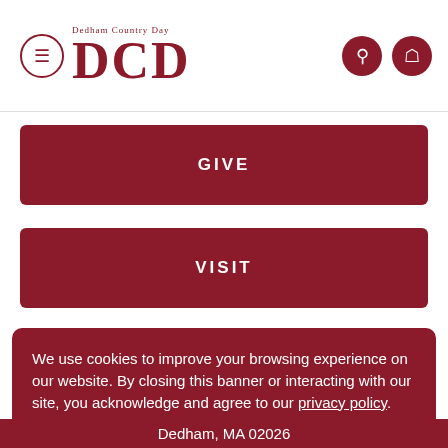DCD Dedham Country Day
GIVE
VISIT
We use cookies to improve your browsing experience on our website. By closing this banner or interacting with our site, you acknowledge and agree to our privacy policy.
GOT IT!
Dedham, MA 02026